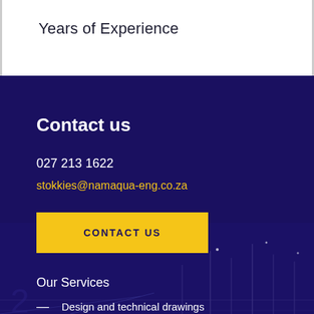Years of Experience
Contact us
027 213 1622
stokkies@namaqua-eng.co.za
CONTACT US
Our Services
Design and technical drawings
Manufacturing